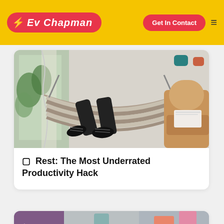[Figure (logo): Ev Chapman logo with lightning bolt on red pill background, yellow header]
Get In Contact
[Figure (photo): Person lying in a hammock indoors, wearing black shoes, with a leather chair visible in the background]
🔲 Rest: The Most Underrated Productivity Hack
[Figure (photo): Partial view of a desk with sticky notes and writing, partially cropped at bottom of page]